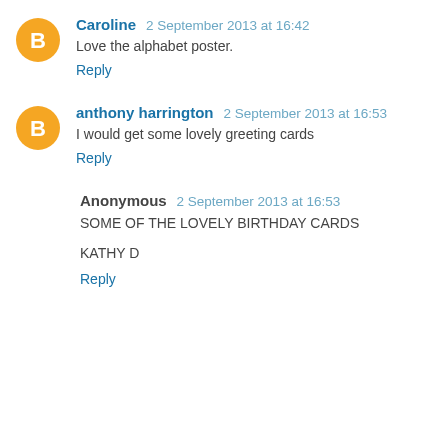Caroline 2 September 2013 at 16:42
Love the alphabet poster.
Reply
anthony harrington 2 September 2013 at 16:53
I would get some lovely greeting cards
Reply
Anonymous 2 September 2013 at 16:53
SOME OF THE LOVELY BIRTHDAY CARDS
KATHY D
Reply